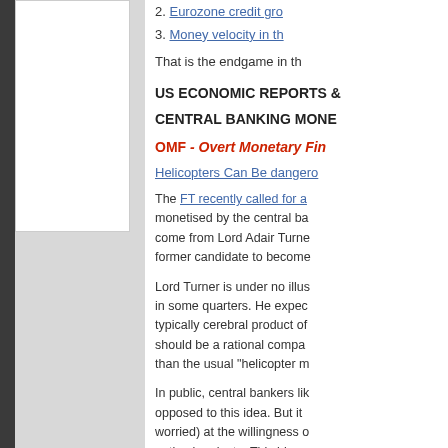2. Eurozone credit gro...
3. Money velocity in th...
That is the endgame in th...
US ECONOMIC REPORTS &...
CENTRAL BANKING MONE...
OMF - Overt Monetary Fin...
Helicopters Can Be dangero...
The FT recently called for a... monetised by the central ba... come from Lord Adair Turne... former candidate to become...
Lord Turner is under no illus... in some quarters. He expec... typically cerebral product of... should be a rational compa... than the usual "helicopter m...
In public, central bankers lik... opposed to this idea. But it... worried) at the willingness o... option in private. This blog s...